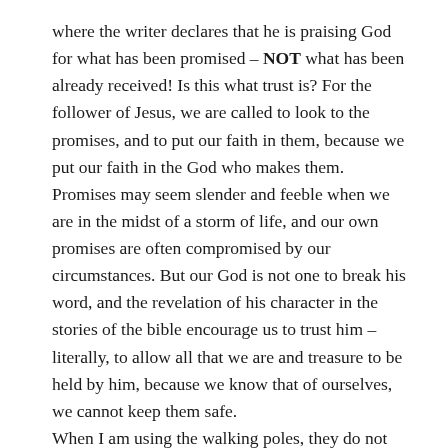where the writer declares that he is praising God for what has been promised – NOT what has been already received! Is this what trust is? For the follower of Jesus, we are called to look to the promises, and to put our faith in them, because we put our faith in the God who makes them.
Promises may seem slender and feeble when we are in the midst of a storm of life, and our own promises are often compromised by our circumstances. But our God is not one to break his word, and the revelation of his character in the stories of the bible encourage us to trust him – literally, to allow all that we are and treasure to be held by him, because we know that of ourselves, we cannot keep them safe.
When I am using the walking poles, they do not transport me out of danger, but enable me to move through it. When I lean hard on them, I am held up, stabilised, made stronger than I can be alone. So it is as I 'lean on God'. My circumstances do not change: the storm rages, my emotions threaten to derail